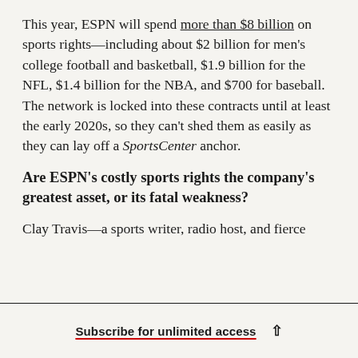This year, ESPN will spend more than $8 billion on sports rights—including about $2 billion for men's college football and basketball, $1.9 billion for the NFL, $1.4 billion for the NBA, and $700 for baseball. The network is locked into these contracts until at least the early 2020s, so they can't shed them as easily as they can lay off a SportsCenter anchor.
Are ESPN's costly sports rights the company's greatest asset, or its fatal weakness?
Clay Travis—a sports writer, radio host, and fierce
Subscribe for unlimited access